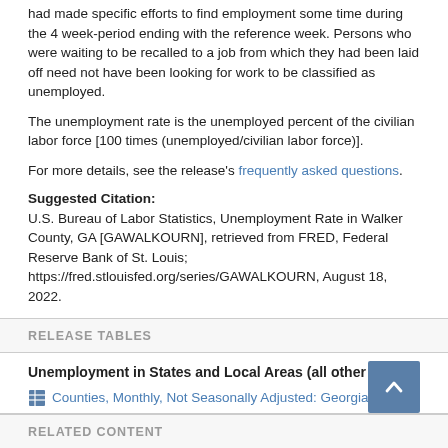had made specific efforts to find employment some time during the 4 week-period ending with the reference week. Persons who were waiting to be recalled to a job from which they had been laid off need not have been looking for work to be classified as unemployed.
The unemployment rate is the unemployed percent of the civilian labor force [100 times (unemployed/civilian labor force)].
For more details, see the release's frequently asked questions.
Suggested Citation:
U.S. Bureau of Labor Statistics, Unemployment Rate in Walker County, GA [GAWALKOURN], retrieved from FRED, Federal Reserve Bank of St. Louis; https://fred.stlouisfed.org/series/GAWALKOURN, August 18, 2022.
RELEASE TABLES
Unemployment in States and Local Areas (all other areas)
Counties, Monthly, Not Seasonally Adjusted: Georgia
RELATED CONTENT